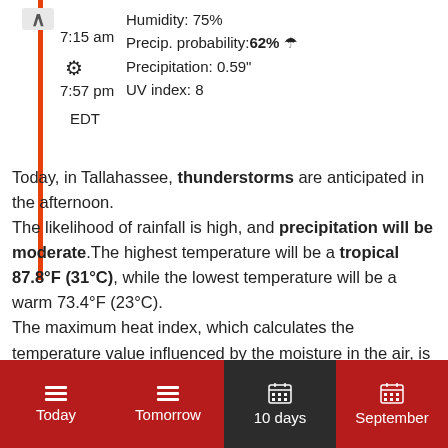Humidity: 75%
Precip. probability: 62% ☂
Precipitation: 0.59"
UV index: 8
7:15 am
7:57 pm
EDT
Today, in Tallahassee, thunderstorms are anticipated in the afternoon. The likelihood of rainfall is high, and precipitation will be moderate.The highest temperature will be a tropical 87.8°F (31°C), while the lowest temperature will be a warm 73.4°F (23°C). The maximum heat index, which calculates the temperature value influenced by the moisture in the air, is estimated at a very hot 102.2°F (39°C). Note that heat index values are valued for light wind and
Today | Tomorrow | 10 days | September